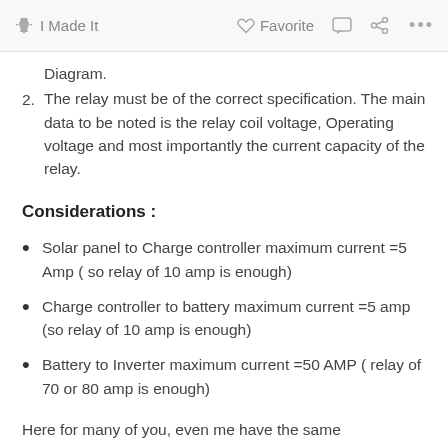I Made It   Favorite   ...
Diagram.
2. The relay must be of the correct specification. The main data to be noted is the relay coil voltage, Operating voltage and most importantly the current capacity of the relay.
Considerations :
Solar panel to Charge controller maximum current =5 Amp ( so relay of 10 amp is enough)
Charge controller to battery maximum current =5 amp (so relay of 10 amp is enough)
Battery to Inverter maximum current =50 AMP ( relay of 70 or 80 amp is enough)
Here for many of you, even me have the same